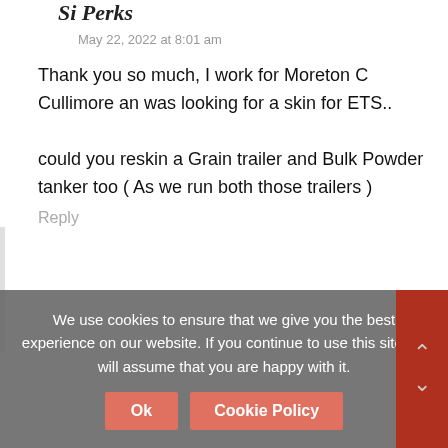Si Perks
May 22, 2022 at 8:01 am
Thank you so much, I work for Moreton C Cullimore an was looking for a skin for ETS..

could you reskin a Grain trailer and Bulk Powder tanker too ( As we run both those trailers )
Reply
We use cookies to ensure that we give you the best experience on our website. If you continue to use this site we will assume that you are happy with it.
Ok
Cookie Policy